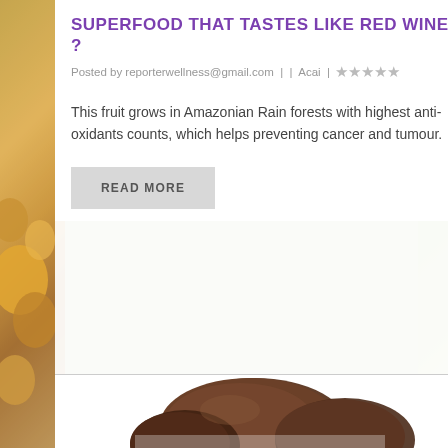SUPERFOOD THAT TASTES LIKE RED WINE ?
Posted by reporterwellness@gmail.com | | Acai | ☆☆☆☆☆
This fruit grows in Amazonian Rain forests with highest anti-oxidants counts, which helps preventing cancer and tumour.
READ MORE
[Figure (photo): Brown root vegetables or tubers (resembling acai or similar dark fruits/roots) on a white background, partially visible at bottom of page]